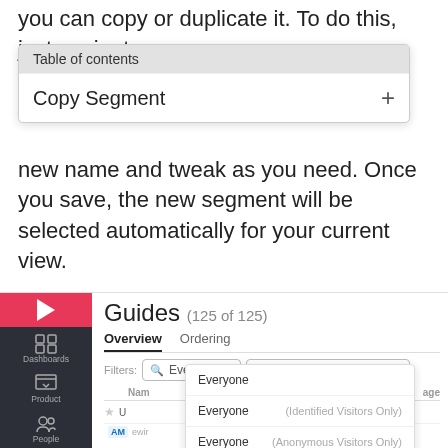you can copy or duplicate it. To do this, just navigate to the segment and click the copy icon next to
[Figure (screenshot): Table of contents dropdown overlay with 'Copy Segment' option and plus icon]
new name and tweak as you need. Once you save, the new segment will be selected automatically for your current view.
[Figure (screenshot): Pendo application screenshot showing Guides panel (125 of 125) with Overview/Ordering tabs, Filters row with Everyone and Yesterday (May 11, 2020) dropdowns, and a dropdown menu showing segment options: Everyone, Everyone (Identified Visitors Only), Everyone (Anonymous Visitors Only), Blacklisted Accounts & Visitors, Account Tier - Corporate, Account Tier - Enterprise]